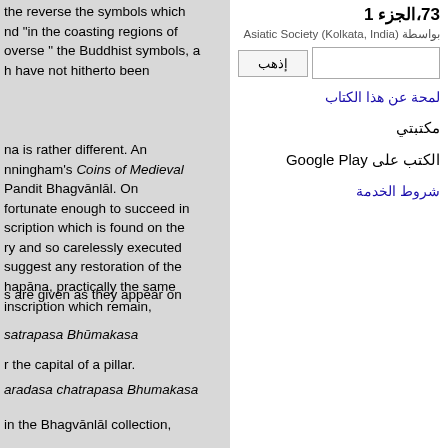the reverse the symbols which nd "in the coasting regions of overse " the Buddhist symbols, a h have not hitherto been
na is rather different. An nningham's Coins of Medieval Pandit Bhagvānlāl. On fortunate enough to succeed in scription which is found on the ry and so carelessly executed suggest any restoration of the hapāna, practically the same inscription which remain,
s are given as they appear on
satrapasa Bhūmakasa
r the capital of a pillar.
aradasa chatrapasa Bhumakasa
in the Bhagvānlāl collection,
73, الجزء 1
بواسطة Asiatic Society (Kolkata, India)
إذهب
لمحة عن هذا الكتاب
مكتبتي
الكتب على Google Play
شروط الخدمة